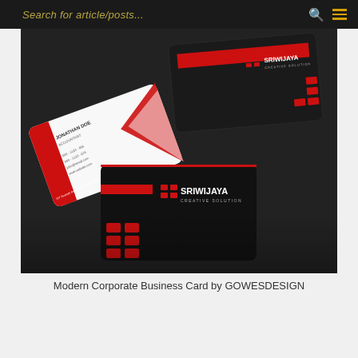Search for article/posts...
[Figure (photo): Photo of Modern Corporate Business Cards (SRIWIJAYA CREATIVE SOLUTION) designed by GOWESDESIGN, showing black cards with red accents and a white card with contact details for Jonathan Doe.]
Modern Corporate Business Card by GOWESDESIGN